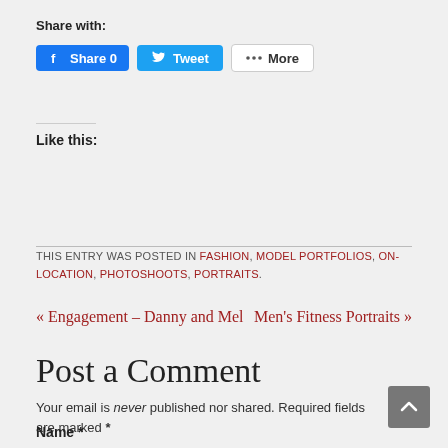Share with:
[Figure (screenshot): Social share buttons: Facebook Share 0, Tweet, More]
Like this:
THIS ENTRY WAS POSTED IN FASHION, MODEL PORTFOLIOS, ON-LOCATION, PHOTOSHOOTS, PORTRAITS.
« Engagement – Danny and Mel   Men's Fitness Portraits »
Post a Comment
Your email is never published nor shared. Required fields are marked *
Name *